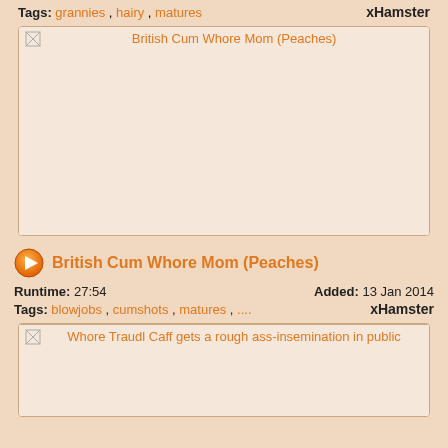Tags: grannies , hairy , matures    xHamster
[Figure (screenshot): Video thumbnail placeholder for British Cum Whore Mom (Peaches)]
British Cum Whore Mom (Peaches)
Runtime: 27:54    Added: 13 Jan 2014
Tags: blowjobs , cumshots , matures , ....    xHamster
[Figure (screenshot): Video thumbnail placeholder for Whore Traudl Caff gets a rough ass-insemination in public]